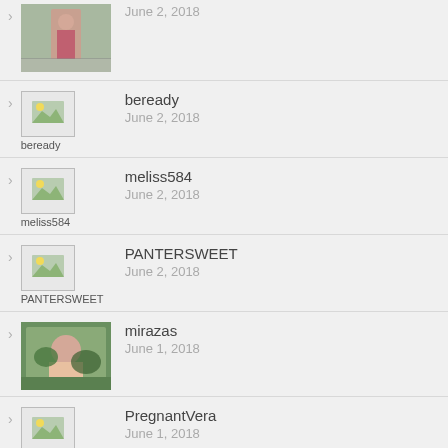June 2, 2018 (photo thumbnail)
beready — June 2, 2018
meliss584 — June 2, 2018
PANTERSWEET — June 2, 2018
mirazas — June 1, 2018
PregnantVera — June 1, 2018